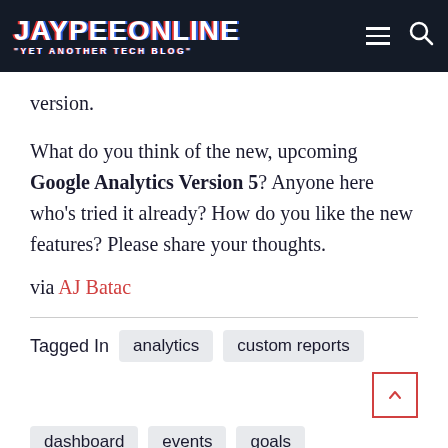JAYPEEONLINE "YET ANOTHER TECH BLOG"
version.
What do you think of the new, upcoming Google Analytics Version 5? Anyone here who's tried it already? How do you like the new features? Please share your thoughts.
via AJ Batac
Tagged In   analytics   custom reports   dashboard   events   goals